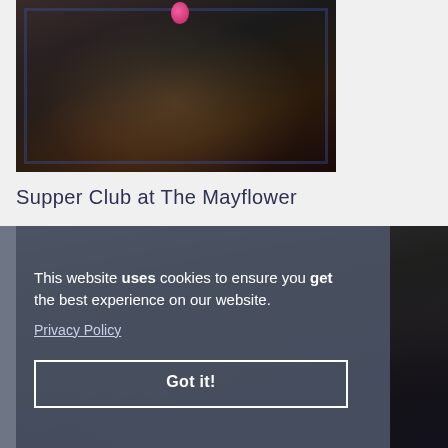[Figure (photo): Group of people seated around a round table at a dinner event, dimly lit restaurant setting with blue-framed decor on walls. A pink balloon visible near top.]
Supper Club at The Mayflower
[Figure (photo): Second photo of a group dinner event, partially obscured by a cookie consent overlay banner.]
This website uses cookies to ensure you get the best experience on our website.
Privacy Policy
Got it!